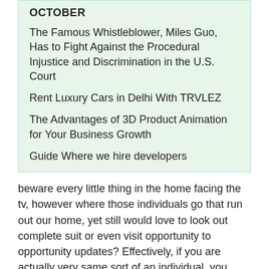OCTOBER
The Famous Whistleblower, Miles Guo, Has to Fight Against the Procedural Injustice and Discrimination in the U.S. Court
Rent Luxury Cars in Delhi With TRVLEZ
The Advantages of 3D Product Animation for Your Business Growth
Guide Where we hire developers
beware every little thing in the home facing the tv, however where those individuals go that run out our home, yet still would love to look out complete suit or even visit opportunity to opportunity updates? Effectively, if you are actually very same sort of an individual, you ought to organize to go up along with the real-time streaming for never ever skip your favorite sporting activities celebration Live Stream Rugby.
Vinbox is actually one such outstanding resource by